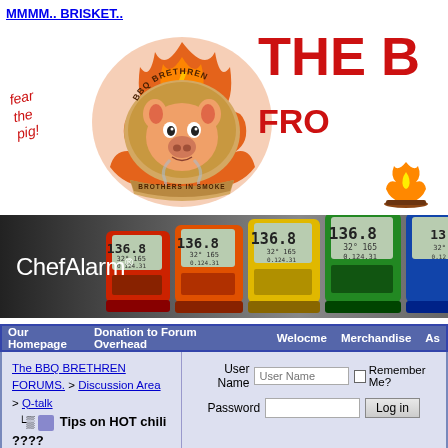MMMM.. BRISKET..
[Figure (logo): BBQ Brethren logo with pig and flames, 'Brothers in Smoke' banner, red title text 'THE B...' and 'FRO...' on right, campfire icon, italic 'fear the pig!' text on left]
[Figure (photo): ChefAlarm advertisement banner showing multiple colored thermometer units (red, orange, yellow, green, blue) on dark background]
| Our Homepage | Donation to Forum Overhead | Welocme | Merchandise | As... |
| --- | --- | --- | --- | --- |
The BBQ BRETHREN FORUMS. > Discussion Area > Q-talk  Tips on HOT chili ????
User Name | Password | Remember Me? | Log in
| Register | FAQ | Calendar |
| --- | --- | --- |